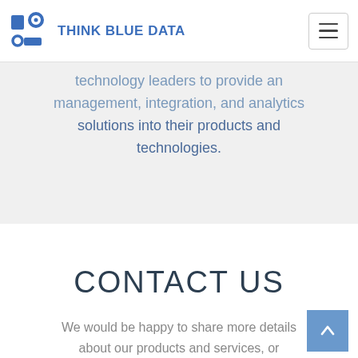THINK BLUE DATA
technology leaders to provide an management, integration, and analytics solutions into their products and technologies.
CONTACT US
We would be happy to share more details about our products and services, or